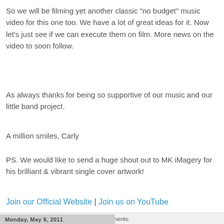So we will be filming yet another classic "no budget" music video for this one too. We have a lot of great ideas for it. Now let's just see if we can execute them on film. More news on the video to soon follow.
As always thanks for being so supportive of our music and our little band project.
A million smiles, Carly
PS. We would like to send a huge shout out to MK iMagery for his brilliant & vibrant single cover artwork!
Join our Official Website | Join us on YouTube
Candy Apple Blue at 2:37 PM   No comments:
Monday, May 9, 2011